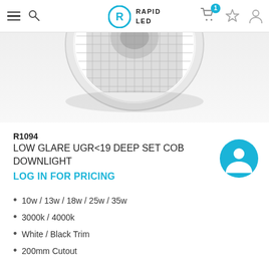Rapid LED - header navigation
[Figure (photo): Top-down view of a white circular LED downlight fixture showing a grid/honeycomb lens pattern, partially cropped at the top of the product area.]
R1094
LOW GLARE UGR<19 DEEP SET COB DOWNLIGHT
LOG IN FOR PRICING
10w / 13w / 18w / 25w / 35w
3000k / 4000k
White / Black Trim
200mm Cutout